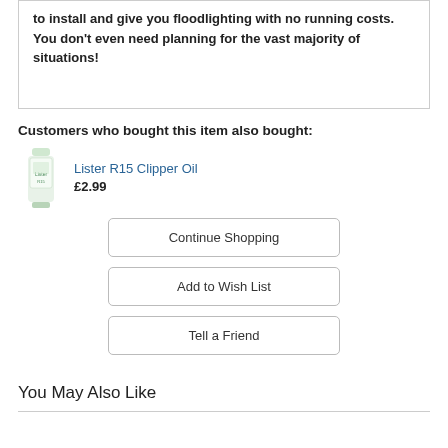to install and give you floodlighting with no running costs.  You don't even need planning for the vast majority of situations!
Customers who bought this item also bought:
[Figure (photo): Product image of Lister R15 Clipper Oil bottle]
Lister R15 Clipper Oil
£2.99
Continue Shopping
Add to Wish List
Tell a Friend
You May Also Like